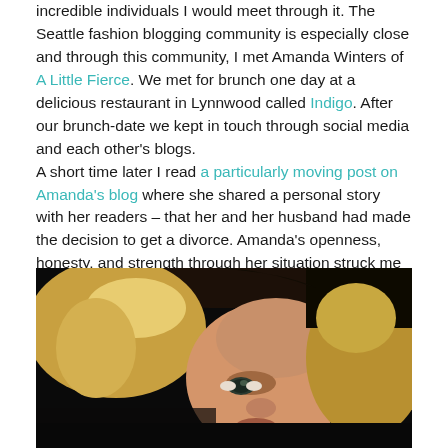incredible individuals I would meet through it. The Seattle fashion blogging community is especially close and through this community, I met Amanda Winters of A Little Fierce. We met for brunch one day at a delicious restaurant in Lynnwood called Indigo. After our brunch-date we kept in touch through social media and each other's blogs. A short time later I read a particularly moving post on Amanda's blog where she shared a personal story with her readers – that her and her husband had made the decision to get a divorce. Amanda's openness, honesty, and strength through her situation struck me and I remember tearing up while reading her post. The reality is that divorces do happen and while they're not easy, they are sometimes the best decision for all parties that are involved.
[Figure (photo): Close-up photo of a blonde woman against a dark background, partially cropped showing face and hair]